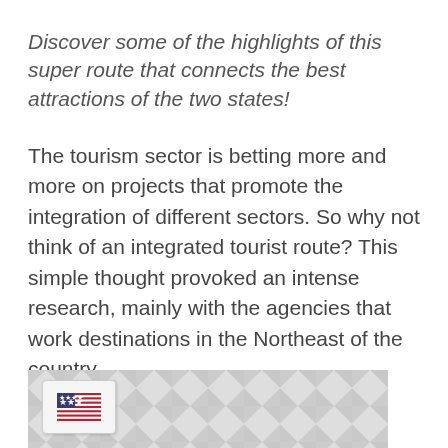Discover some of the highlights of this super route that connects the best attractions of the two states!
The tourism sector is betting more and more on projects that promote the integration of different sectors. So why not think of an integrated tourist route? This simple thought provoked an intense research, mainly with the agencies that work destinations in the Northeast of the country.
[Figure (screenshot): Partial screenshot showing a decorative triangle pattern background in light gray with a small white box containing a US flag emoji in the lower left portion of the page.]